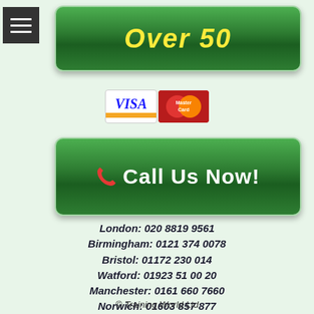[Figure (infographic): Hamburger menu button (dark grey square with three white horizontal lines)]
[Figure (infographic): Green rounded button with yellow italic bold text reading 'Over 50']
[Figure (infographic): Visa and Mastercard payment icons side by side]
[Figure (infographic): Green rounded button with red phone icon and white bold text reading 'Call Us Now!']
London: 020 8819 9561
Birmingham: 0121 374 0078
Bristol: 01172 230 014
Watford: 01923 51 00 20
Manchester: 0161 660 7660
Norwich: 01603 857 877
Glasgow: 0141 530 7710
© Training World Ltd
All NEBOSH, IOSH, IFE, IEMA and City & Guilds courses are run through authorised centres